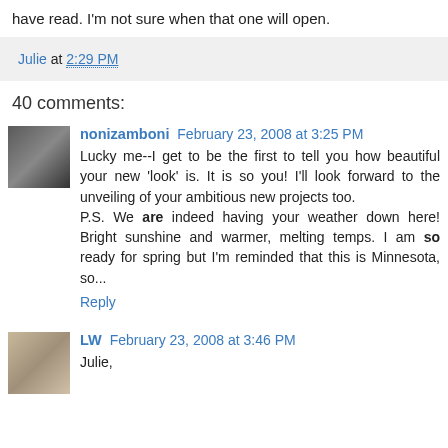have read. I'm not sure when that one will open.
Julie at 2:29 PM
40 comments:
nonizamboni February 23, 2008 at 3:25 PM
Lucky me--I get to be the first to tell you how beautiful your new 'look' is. It is so you! I'll look forward to the unveiling of your ambitious new projects too.
P.S. We are indeed having your weather down here! Bright sunshine and warmer, melting temps. I am so ready for spring but I'm reminded that this is Minnesota, so...
Reply
LW February 23, 2008 at 3:46 PM
Julie,